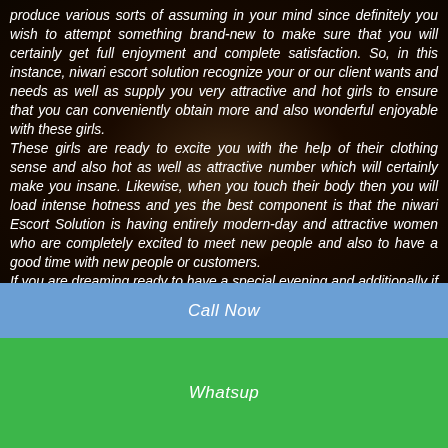produce various sorts of assuming in your mind since definitely you wish to attempt something brand-new to make sure that you will certainly get full enjoyment and complete satisfaction. So, in this instance, niwari escort solution recognize your or our client wants and needs as well as supply you very attractive and hot girls to ensure that you can conveniently obtain more and also wonderful enjoyable with these girls. These girls are ready to excite you with the help of their clothing sense and also hot as well as attractive number which will certainly make you insane. Likewise, when you touch their body then you will load intense hotness and yes the best component is that the niwari Escort Solution is having entirely modern-day and attractive women who are completely excited to meet new people and also to have a good time with new people or customers. If you are dreaming ready to have a special evening and additionally if you want to make your life delighted after that we will supply you the very best as well as
Call Now
Whatsup